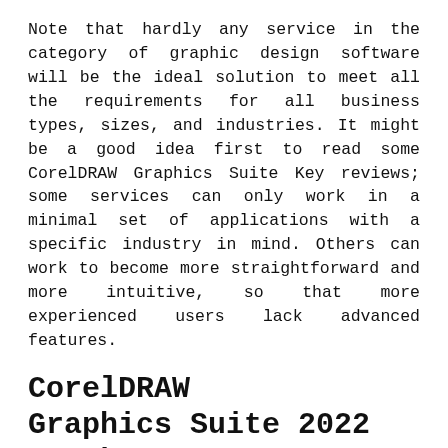Note that hardly any service in the category of graphic design software will be the ideal solution to meet all the requirements for all business types, sizes, and industries. It might be a good idea first to read some CorelDRAW Graphics Suite Key reviews; some services can only work in a minimal set of applications with a specific industry in mind. Others can work to become more straightforward and more intuitive, so that more experienced users lack advanced features.
CorelDRAW Graphics Suite 2022 Crack
CorelDRAW Graphics Suite Crack's biggest